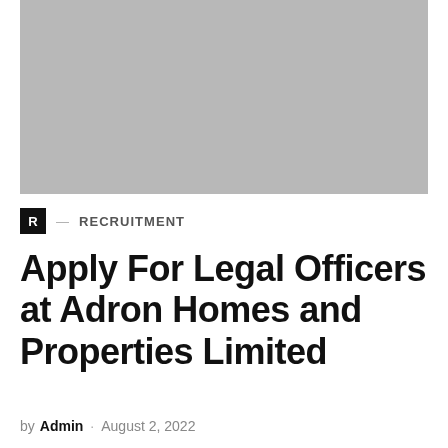[Figure (photo): Gray placeholder image at top of article page]
R — RECRUITMENT
Apply For Legal Officers at Adron Homes and Properties Limited
by Admin · August 2, 2022